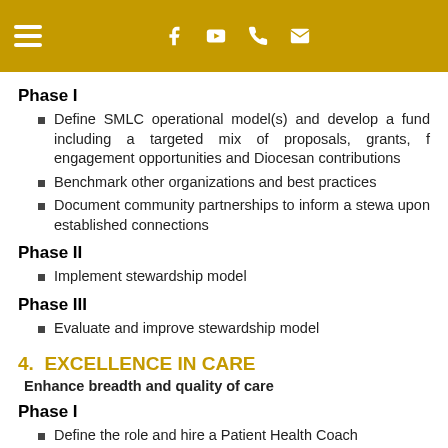Navigation header with hamburger menu, Facebook, YouTube, phone, and email icons
Phase I
Define SMLC operational model(s) and develop a fund including a targeted mix of proposals, grants, f engagement opportunities and Diocesan contributions
Benchmark other organizations and best practices
Document community partnerships to inform a stewardship upon established connections
Phase II
Implement stewardship model
Phase III
Evaluate and improve stewardship model
4.  EXCELLENCE IN CARE
Enhance breadth and quality of care
Phase I
Define the role and hire a Patient Health Coach